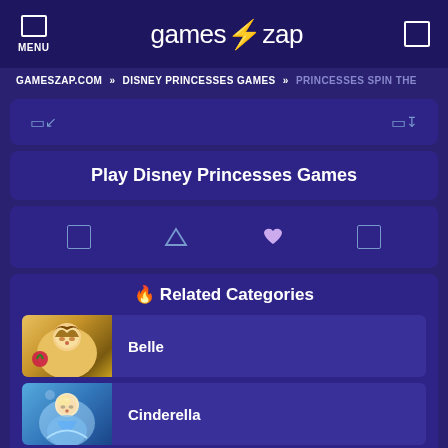MENU | gameszap | [search icon]
GAMESZAP.COM » DISNEY PRINCESSES GAMES » PRINCESSES SPIN THE
◱ ↙   ◱ ↧
Play Disney Princesses Games
◱  △  ♥  ◱
🔥 Related Categories
Belle
Cinderella